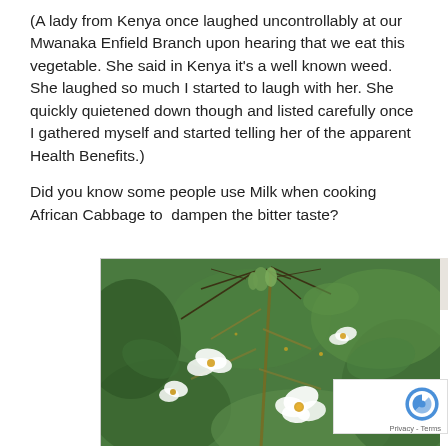(A lady from Kenya once laughed uncontrollably at our Mwanaka Enfield Branch upon hearing that we eat this vegetable. She said in Kenya it's a well known weed. She laughed so much I started to laugh with her. She quickly quietened down though and listed carefully once I gathered myself and started telling her of the apparent Health Benefits.)

Did you know some people use Milk when cooking African Cabbage to  dampen the bitter taste?
[Figure (photo): Close-up photo of African Cabbage plant with white flowers and green leaves against blurred green background]